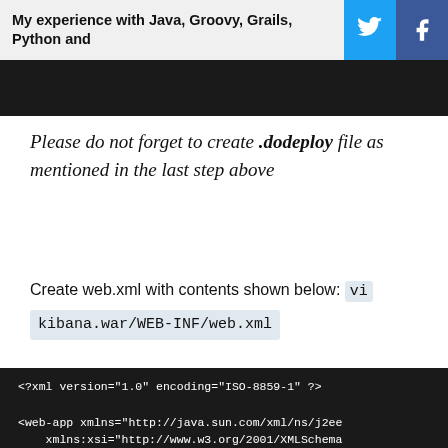My experience with Java, Groovy, Grails, Python and
Please do not forget to create .dodeploy file as mentioned in the last step above
Create web.xml with contents shown below: vi kibana.war/WEB-INF/web.xml
[Figure (screenshot): Dark code block showing XML: <?xml version="1.0" encoding="ISO-8859-1" ?> <web-app xmlns="http://java.sun.com/xml/ns/j2ee" xmlns:xsi="http://www.w3.org/2001/XMLSchema... xsi:schemaLocation="http://java.sun.com/xml... version="2.4">]